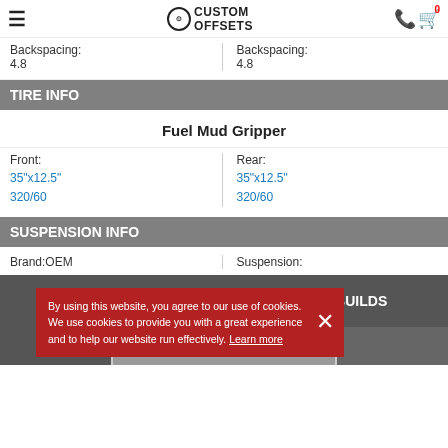Custom Offsets — navigation header
Backspacing: 4.8 | Backspacing: 4.8
TIRE INFO
Fuel Mud Gripper
Front: 35"x12.5" 320/60 | Rear: 35"x12.5" 320/60
SUSPENSION INFO
Brand: OEM | Suspension:
SIMILAR 2004 FORD F-250 SUPER DUTY BUILDS
By using this website, you agree to our use of cookies. We use cookies to provide you with a great experience and to help our website run effectively. Learn more